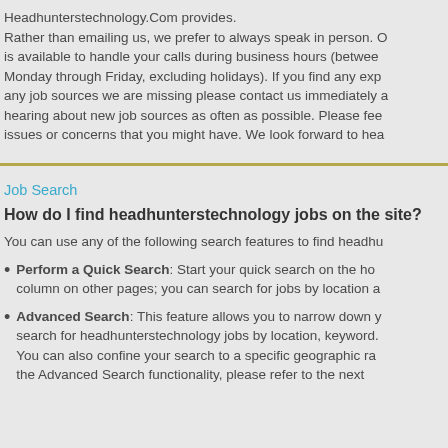Headhunterstechnology.Com provides.
Rather than emailing us, we prefer to always speak in person. Our staff is available to handle your calls during business hours (between Monday through Friday, excluding holidays). If you find any experience any job sources we are missing please contact us immediately and hearing about new job sources as often as possible. Please feel free to issues or concerns that you might have. We look forward to hearing from you.
Job Search
How do I find headhunterstechnology jobs on the site?
You can use any of the following search features to find headhu...
Perform a Quick Search: Start your quick search on the home page or in the column on other pages; you can search for jobs by location a...
Advanced Search: This feature allows you to narrow down your search for headhunterstechnology jobs by location, keyword. You can also confine your search to a specific geographic range. For the Advanced Search functionality, please refer to the next...